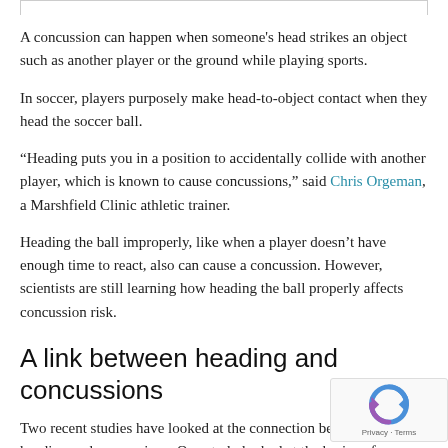A concussion can happen when someone's head strikes an object such as another player or the ground while playing sports.
In soccer, players purposely make head-to-object contact when they head the soccer ball.
“Heading puts you in a position to accidentally collide with another player, which is known to cause concussions,” said Chris Orgeman, a Marshfield Clinic athletic trainer.
Heading the ball improperly, like when a player doesn’t have enough time to react, also can cause a concussion. However, scientists are still learning how heading the ball properly affects concussion risk.
A link between heading and concussions
Two recent studies have looked at the connection between soccer heading and concussions. One study looked at the brains of deceased soccer players who had been skilled at heading. Some of